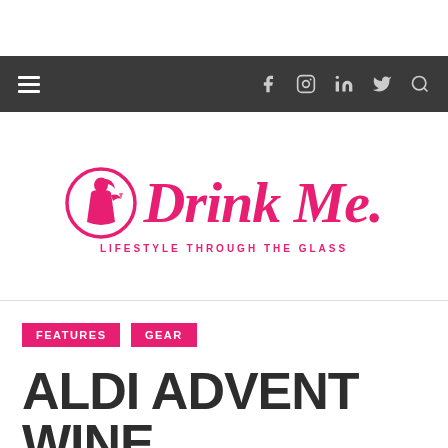Navigation bar with hamburger menu, social icons: f, camera, in, twitter bird, search
[Figure (logo): Drink Me. logo with pink circle silhouette and script text, tagline: LIFESTYLE THROUGH THE GLASS]
FEATURES  GEAR
ALDI ADVENT WINE